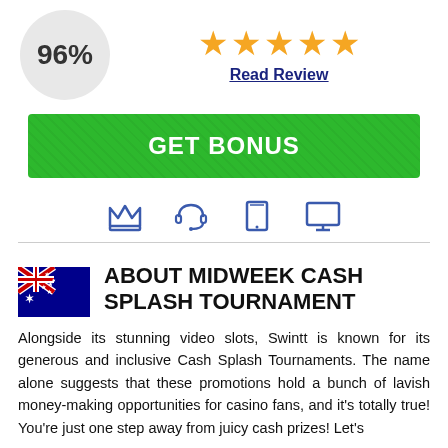[Figure (other): Circle with 96% score rating]
[Figure (other): Five gold star rating icons]
Read Review
[Figure (other): Green GET BONUS button]
[Figure (other): Row of four blue icons: crown, headset, tablet, monitor]
[Figure (other): Australian flag]
ABOUT MIDWEEK CASH SPLASH TOURNAMENT
Alongside its stunning video slots, Swintt is known for its generous and inclusive Cash Splash Tournaments. The name alone suggests that these promotions hold a bunch of lavish money-making opportunities for casino fans, and it's totally true! You're just one step away from juicy cash prizes! Let's